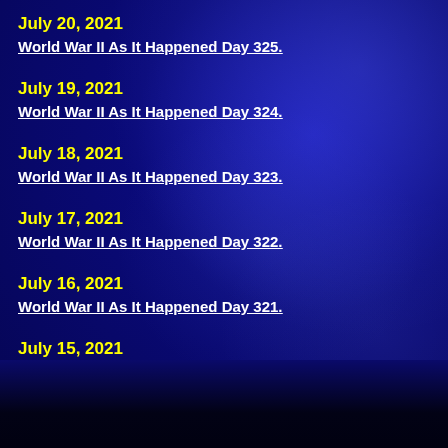July 20, 2021
World War II As It Happened Day 325.
July 19, 2021
World War II As It Happened Day 324.
July 18, 2021
World War II As It Happened Day 323.
July 17, 2021
World War II As It Happened Day 322.
July 16, 2021
World War II As It Happened Day 321.
July 15, 2021